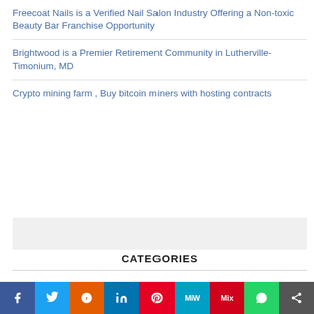Freecoat Nails is a Verified Nail Salon Industry Offering a Non-toxic Beauty Bar Franchise Opportunity
Brightwood is a Premier Retirement Community in Lutherville-Timonium, MD
Crypto mining farm , Buy bitcoin miners with hosting contracts
CATEGORIES
Cloud PRWire
Environment
Nutrition